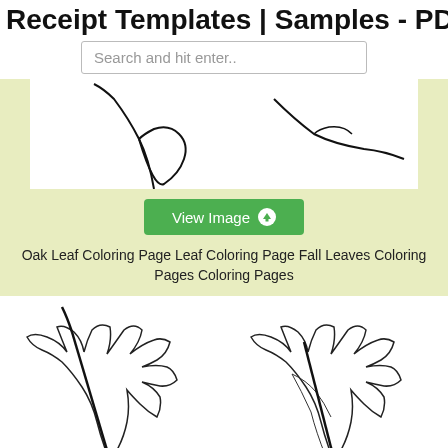Receipt Templates | Samples - PDF
Search and hit enter..
[Figure (illustration): Partial oak leaf coloring page outline showing curving leaf stem and leaf edges on white background]
View Image
Oak Leaf Coloring Page Leaf Coloring Page Fall Leaves Coloring Pages Coloring Pages
[Figure (illustration): Two coloring page illustrations of oak/maple leaf bunches with stems side by side on light yellow-green background]